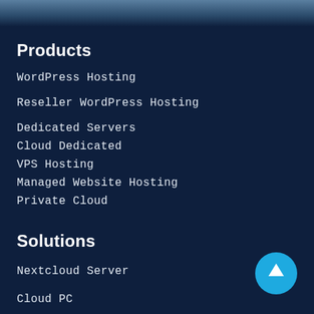[Figure (photo): Top banner with blue-grey gradient, partial website header visible]
Products
WordPress Hosting
Reseller WordPress Hosting
Dedicated Servers
Cloud Dedicated
VPS Hosting
Managed Website Hosting
Private Cloud
Solutions
Nextcloud Server
Cloud PC
[Figure (illustration): Cyan/blue circular button with upward arrow icon (scroll-to-top button)]